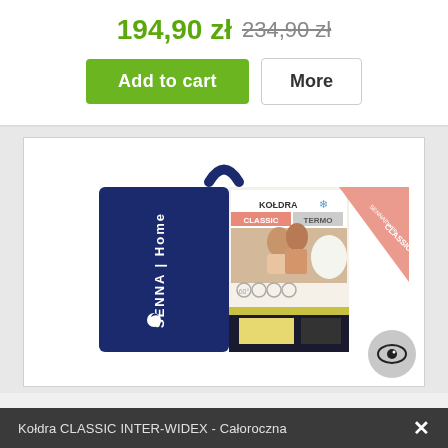194,90 zł 234,90 zł
Add to cart
More
[Figure (photo): Product photo of Senna Home CLASSIC INTER-WIDEX blanket/duvet in packaging bag, navy blue and white with a couple on the label]
Kołdra CLASSIC INTER-WIDEX - Całoroczna